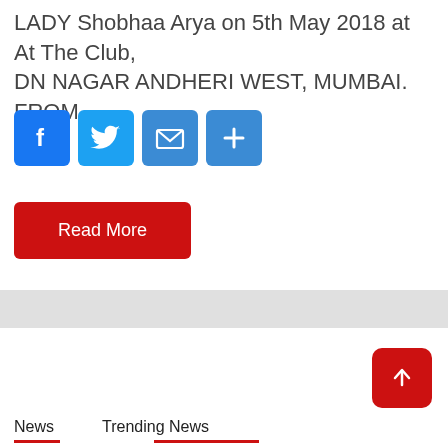LADY Shobhaa Arya on 5th May 2018 at At The Club, DN NAGAR ANDHERI WEST, MUMBAI. FROM
[Figure (screenshot): Social sharing icons: Facebook (blue), Twitter (light blue), Email (blue envelope), Share/plus (blue) buttons]
Read More
[Figure (other): Light gray horizontal banner/divider bar]
[Figure (other): Scroll to top button - red rounded square with upward arrow]
News   Trending News